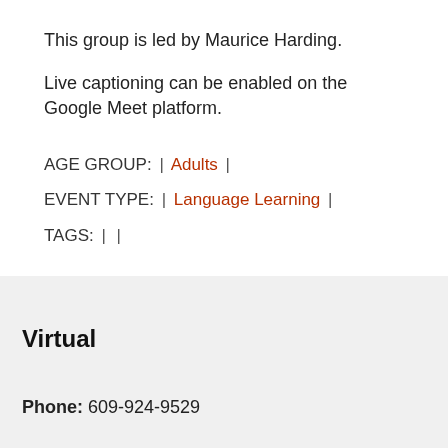This group is led by Maurice Harding.
Live captioning can be enabled on the Google Meet platform.
AGE GROUP: | Adults |
EVENT TYPE: | Language Learning |
TAGS: | |
Virtual
Phone: 609-924-9529